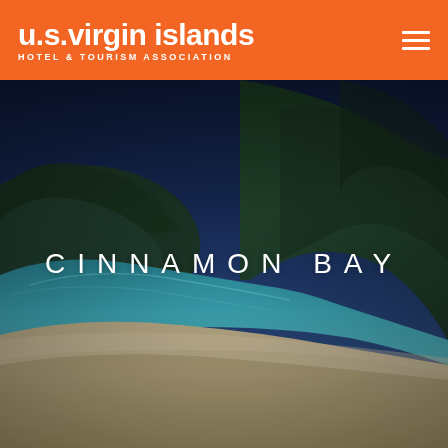u.s.virgin islands HOTEL & TOURISM ASSOCIATION
[Figure (photo): Aerial beach scene at Cinnamon Bay, U.S. Virgin Islands. Shows a sandy beach curving around a calm turquoise bay, with lush dark green tree-covered hills in the background and a deep blue sky. The overlaid text reads CINNAMON BAY.]
CINNAMON BAY